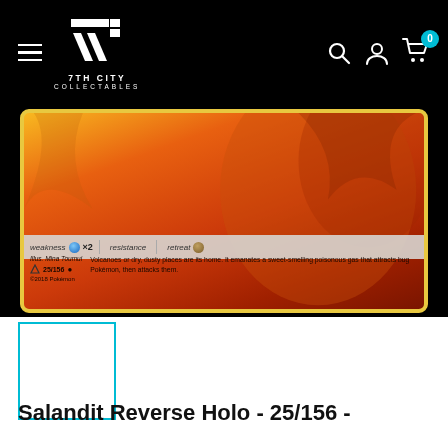7TH CITY COLLECTABLES
[Figure (photo): Bottom portion of a Pokemon Salandit card showing weakness (water x2), resistance, and retreat stats bar, with card number 25/156 and flavor text. Card has orange/red fire background with yellow border.]
[Figure (photo): Small thumbnail image of the Salandit card, shown selected with cyan/teal border]
Salandit Reverse Holo - 25/156 -